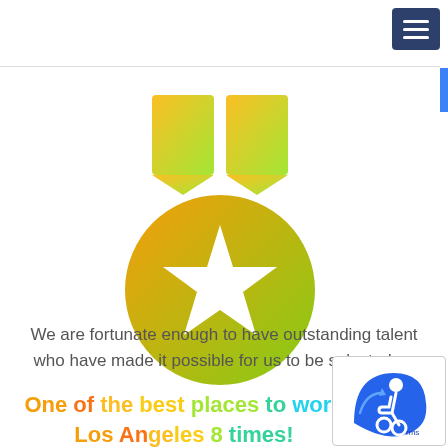[Figure (illustration): Award medal icon with gradient from yellow-orange to green. Two ribbon tabs at top and a circular medal body with a white star in the center.]
We are fortunate enough to have outstanding talent who have made it possible for us to be selected as
One of the best places to work in Los Angeles 8 times!